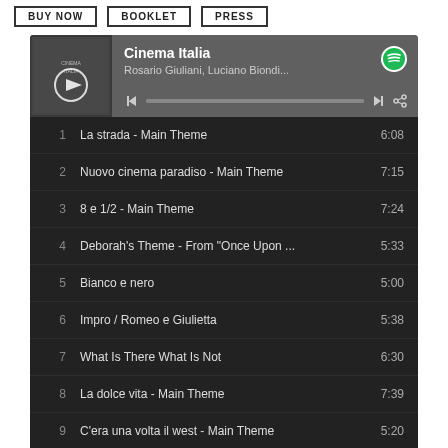BUY NOW  BOOKLET  PRESS
[Figure (screenshot): Spotify embedded player widget showing 'Cinema Italia' playlist by Rosario Giuliani, Luciano Biondi... with 9 tracks listed: 1. La strada - Main Theme 6:08, 2. Nuovo cinema paradiso - Main Theme 7:15, 3. 8 e 1/2 - Main Theme 7:24, 4. Deborah's Theme - From "Once Upon ... 5:33, 5. Bianco e nero 5:00, 6. Impro / Romeo e Giulietta 5:38, 7. What Is There What Is Not 6:30, 8. La dolce vita - Main Theme 7:39, 9. C'era una volta il west - Main Theme 5:20]
What would movies be like without music? Music